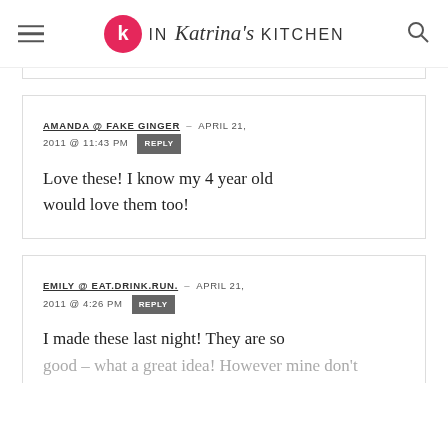In Katrina's Kitchen
AMANDA @ FAKE GINGER – APRIL 21, 2011 @ 11:43 PM REPLY
Love these! I know my 4 year old would love them too!
EMILY @ EAT.DRINK.RUN. – APRIL 21, 2011 @ 4:26 PM REPLY
I made these last night! They are so good – what a great idea! However mine don't look anything like yours...all of my jelly beans